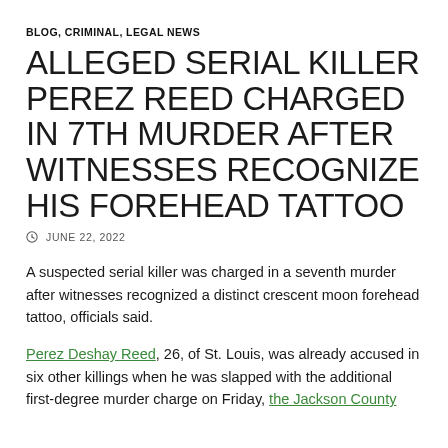BLOG, CRIMINAL, LEGAL NEWS
ALLEGED SERIAL KILLER PEREZ REED CHARGED IN 7TH MURDER AFTER WITNESSES RECOGNIZE HIS FOREHEAD TATTOO
JUNE 22, 2022
A suspected serial killer was charged in a seventh murder after witnesses recognized a distinct crescent moon forehead tattoo, officials said.
Perez Deshay Reed, 26, of St. Louis, was already accused in six other killings when he was slapped with the additional first-degree murder charge on Friday, the Jackson County